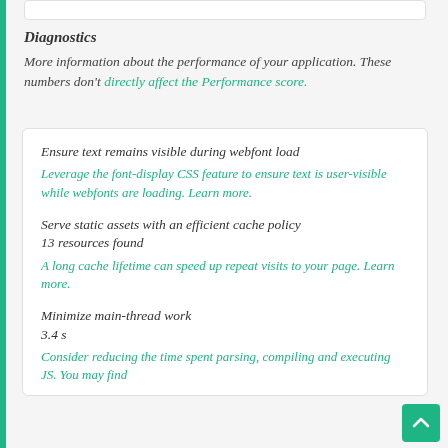Diagnostics
More information about the performance of your application. These numbers don't directly affect the Performance score.
Ensure text remains visible during webfont load
Leverage the font-display CSS feature to ensure text is user-visible while webfonts are loading. Learn more.
Serve static assets with an efficient cache policy 13 resources found
A long cache lifetime can speed up repeat visits to your page. Learn more.
Minimize main-thread work 3.4 s
Consider reducing the time spent parsing, compiling and executing JS. You may find